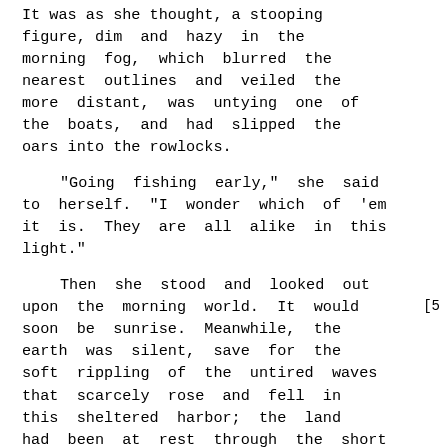It was as she thought, a stooping figure, dim and hazy in the morning fog, which blurred the nearest outlines and veiled the more distant, was untying one of the boats, and had slipped the oars into the rowlocks.

   "Going fishing early," she said to herself. "I wonder which of 'em it is. They are all alike in this light."

   Then she stood and looked out upon the morning world. It would soon be sunrise. Meanwhile, the earth was silent, save for the soft rippling of the untired waves that scarcely rose and fell in this sheltered harbor; the land had been at rest through the short night, but they had climbed and lapsed again steadily through its hours; the paling stars would soon have faded into the haze. The expectation of the creature waited
[5